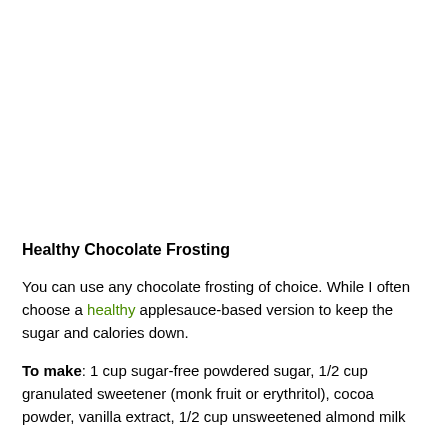Healthy Chocolate Frosting
You can use any chocolate frosting of choice. While I often choose a healthy applesauce-based version to keep the sugar and calories down.
To make: 1 cup sugar-free powdered sugar, 1/2 cup granulated sweetener (monk fruit or erythritol), cocoa powder, vanilla extract, 1/2 cup unsweetened almond milk